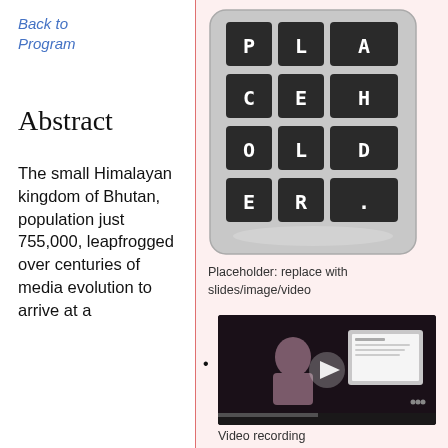Back to Program
Abstract
The small Himalayan kingdom of Bhutan, population just 755,000, leapfrogged over centuries of media evolution to arrive at a
[Figure (illustration): Placeholder image icon showing the text PLACEHOLDER in a grid of tiles on a rounded rectangle, gray tones]
Placeholder: replace with slides/image/video
[Figure (screenshot): Video recording thumbnail showing a person presenting on a dark stage with a screen visible]
Video recording
Notes
Etherpad (template)